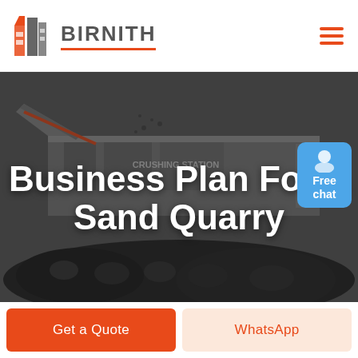[Figure (logo): Birnith company logo with orange/red building icon and BIRNITH text with orange underline, plus hamburger menu icon on the right]
[Figure (photo): Industrial crushing station / quarry machinery with dark rocks/coal in foreground, machinery labeled CRUSHING STATION in background, muted dark tone]
Business Plan For A Sand Quarry
[Figure (other): Free chat bubble button in blue with person/agent icon]
Get a Quote
WhatsApp